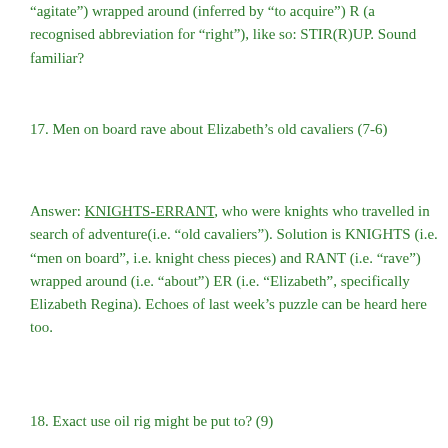“agitate”) wrapped around (inferred by “to acquire”) R (a recognised abbreviation for “right”), like so: STIR(R)UP. Sound familiar?
17. Men on board rave about Elizabeth’s old cavaliers (7-6)
Answer: KNIGHTS-ERRANT, who were knights who travelled in search of adventure(i.e. “old cavaliers”). Solution is KNIGHTS (i.e. “men on board”, i.e. knight chess pieces) and RANT (i.e. “rave”) wrapped around (i.e. “about”) ER (i.e. “Elizabeth”, specifically Elizabeth Regina). Echoes of last week’s puzzle can be heard here too.
18. Exact use oil rig might be put to? (9)